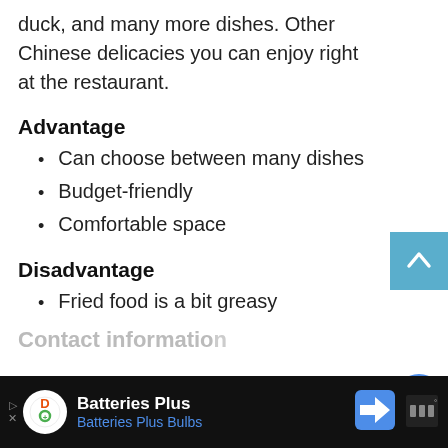duck, and many more dishes. Other Chinese delicacies you can enjoy right at the restaurant.
Advantage
Can choose between many dishes
Budget-friendly
Comfortable space
Disadvantage
Fried food is a bit greasy
Contact information
[Figure (screenshot): Advertisement bar for Batteries Plus / Batteries Plus Bulbs with logo and navigation arrow icon]